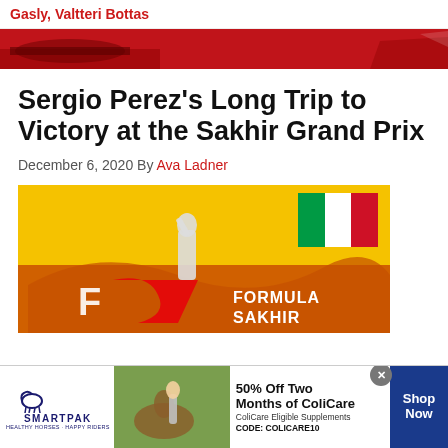Gasly, Valtteri Bottas
[Figure (photo): Red banner/header image with dark silhouettes of race cars on a red background]
Sergio Perez's Long Trip to Victory at the Sakhir Grand Prix
December 6, 2020 By Ava Ladner
[Figure (photo): Photo of a person raising a fist in celebration in front of a yellow/orange Formula 1 Sakhir Grand Prix backdrop with a Mexican flag visible in the upper right]
[Figure (photo): SmartPak advertisement: 50% Off Two Months of ColiCare, ColiCare Eligible Supplements, CODE: COLICARE10, with Shop Now button]